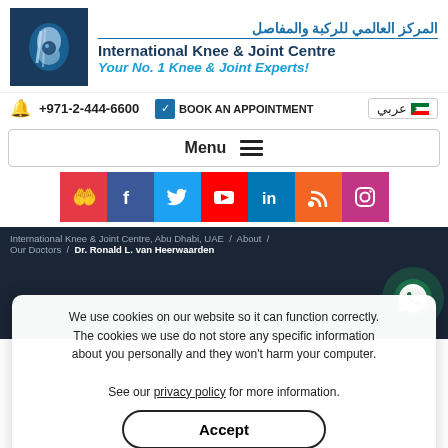[Figure (logo): International Knee & Joint Centre logo — dark blue box with knee X-ray illustration, Arabic title, English title, and tagline]
+971-2-444-6600
BOOK AN APPOINTMENT
عربي
Menu
[Figure (infographic): Social media icon bar: hand/share (red), Facebook (dark blue), Twitter (light blue), YouTube (red), LinkedIn (blue), RSS (orange), Instagram (purple)]
International Knee & Joint Centre, Abu Dhabi, UAE / About / Our Doctors / Dr. Ronald L. van Heerwaarden
We use cookies on our website so it can function correctly. The cookies we use do not store any specific information about you personally and they won't harm your computer.

See our privacy policy for more information.
Accept